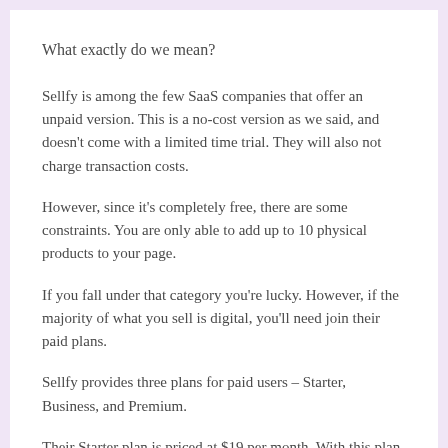What exactly do we mean?
Sellfy is among the few SaaS companies that offer an unpaid version. This is a no-cost version as we said, and doesn't come with a limited time trial. They will also not charge transaction costs.
However, since it's completely free, there are some constraints. You are only able to add up to 10 physical products to your page.
If you fall under that category you're lucky. However, if the majority of what you sell is digital, you'll need join their paid plans.
Sellfy provides three plans for paid users – Starter, Business, and Premium.
Their Starter plan is priced at $19 per month. With this plan, you